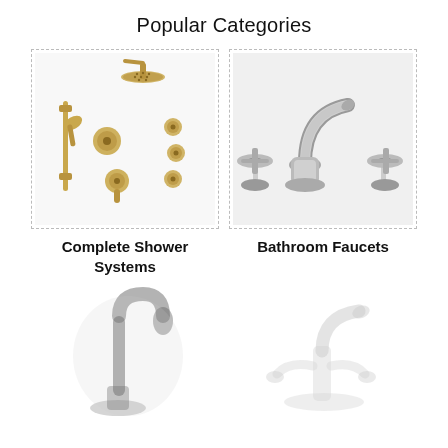Popular Categories
[Figure (photo): Gold/champagne bronze complete shower system with rain head, hand shower, volume control, and body sprays]
[Figure (photo): Brushed nickel bathroom faucet with cross handles, widespread three-hole design]
Complete Shower Systems
Bathroom Faucets
[Figure (photo): Dark/matte black pull-down kitchen faucet, partially blurred]
[Figure (photo): Chrome/silver tub filler faucet, partially blurred]